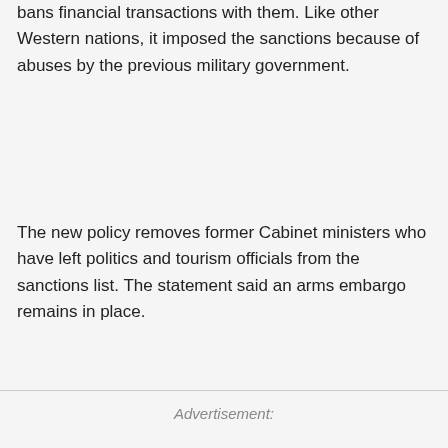bans financial transactions with them. Like other Western nations, it imposed the sanctions because of abuses by the previous military government.
The new policy removes former Cabinet ministers who have left politics and tourism officials from the sanctions list. The statement said an arms embargo remains in place.
Advertisement: